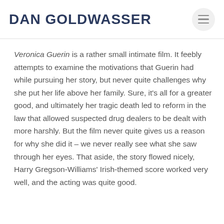DAN GOLDWASSER
Veronica Guerin is a rather small intimate film. It feebly attempts to examine the motivations that Guerin had while pursuing her story, but never quite challenges why she put her life above her family. Sure, it's all for a greater good, and ultimately her tragic death led to reform in the law that allowed suspected drug dealers to be dealt with more harshly. But the film never quite gives us a reason for why she did it – we never really see what she saw through her eyes. That aside, the story flowed nicely, Harry Gregson-Williams' Irish-themed score worked very well, and the acting was quite good.